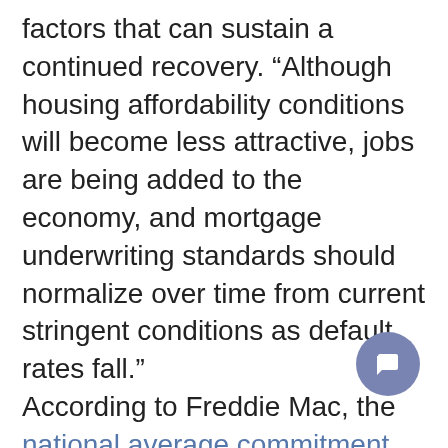factors that can sustain a continued recovery. “Although housing affordability conditions will become less attractive, jobs are being added to the economy, and mortgage underwriting standards should normalize over time from current stringent conditions as default rates fall.” According to Freddie Mac, the national average commitment rate for a 30-year, conventional, fixed-rate mortgage rose to 4.37 percent in July from 4.07 percent in June, and is the highest since July 2011 when it was 4.55 percent; the rate was 3.55 percent in July 201… Total housing inventory at the end of July rose 5.6 percent to 2.28 million